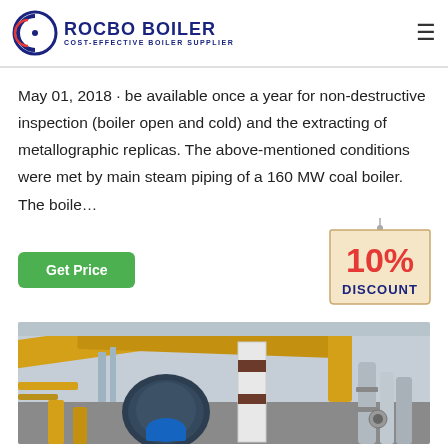ROCBO BOILER — COST-EFFECTIVE BOILER SUPPLIER
May 01, 2018 · be available once a year for non-destructive inspection (boiler open and cold) and the extracting of metallographic replicas. The above-mentioned conditions were met by main steam piping of a 160 MW coal boiler. The boile…
[Figure (other): Green 'Get Price' button]
[Figure (other): 10% DISCOUNT badge/tag in red and blue on beige tag shape]
[Figure (photo): Industrial boiler room interior showing yellow pipes, silver/white insulated pipes, a large dark cylindrical boiler vessel, and various industrial equipment and pipework]